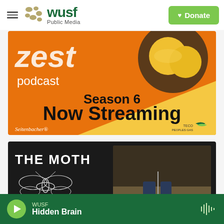[Figure (screenshot): WUSF Public Media website header with hamburger menu, WUSF logo with dots, and green Donate button with heart icon]
[Figure (screenshot): Zest Podcast Season 6 Now Streaming banner advertisement with orange and yellow background, lemon image, Seitenbacher and TECO Peoples Gas logos]
[Figure (screenshot): The Moth podcast banner: dark background with moth illustration, '25 Years of Humanity One Story at a Time' text, and photo of person's feet at microphone stand]
[Figure (screenshot): Audio player bar at bottom: green background, play button, WUSF / Hidden Brain label, audio waveform icon]